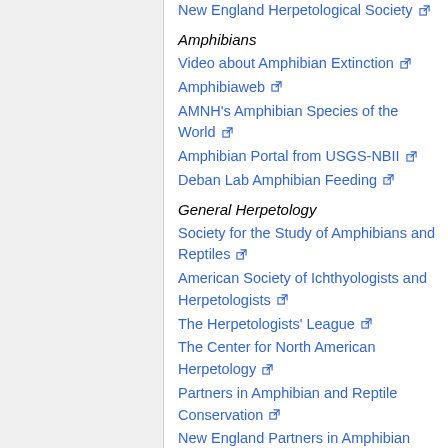New England Herpetological Society [external link]
Amphibians
Video about Amphibian Extinction [external link]
Amphibiaweb [external link]
AMNH's Amphibian Species of the World [external link]
Amphibian Portal from USGS-NBII [external link]
Deban Lab Amphibian Feeding [external link]
General Herpetology
Society for the Study of Amphibians and Reptiles [external link]
American Society of Ichthyologists and Herpetologists [external link]
The Herpetologists' League [external link]
The Center for North American Herpetology [external link]
Partners in Amphibian and Reptile Conservation [external link]
New England Partners in Amphibian and [external link]